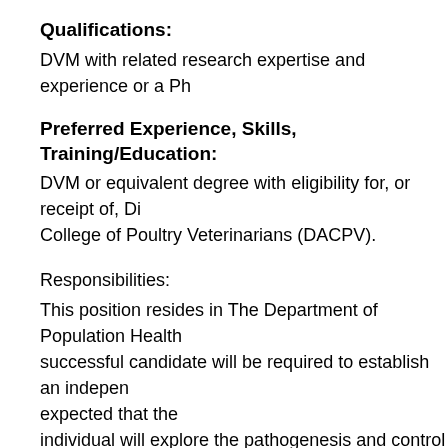Qualifications:
DVM with related research expertise and experience or a Ph
Preferred Experience, Skills, Training/Education:
DVM or equivalent degree with eligibility for, or receipt of, Di College of Poultry Veterinarians (DACPV).
Responsibilities:
This position resides in The Department of Population Health successful candidate will be required to establish an indepen expected that the individual will explore the pathogenesis and control of viral d poultry industry. The individual must have the ability to adap diseases and problems that affect the diverse poultry industr and layers). The candidate should be willing to implement ar classical and molecular virology to identify and characterize develop appropriate mitigation strategies where possible. Ad